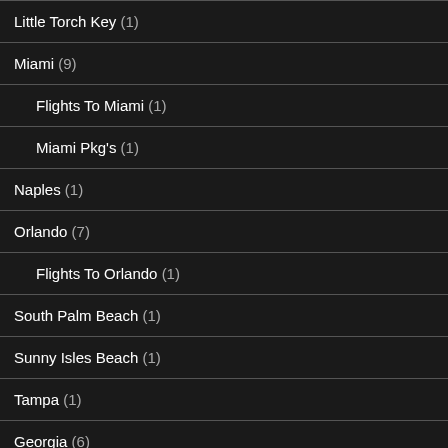Little Torch Key (1)
Miami (9)
Flights To Miami (1)
Miami Pkg's (1)
Naples (1)
Orlando (7)
Flights To Orlando (1)
South Palm Beach (1)
Sunny Isles Beach (1)
Tampa (1)
Georgia (6)
Hawaii (18)
Honolulu (5)